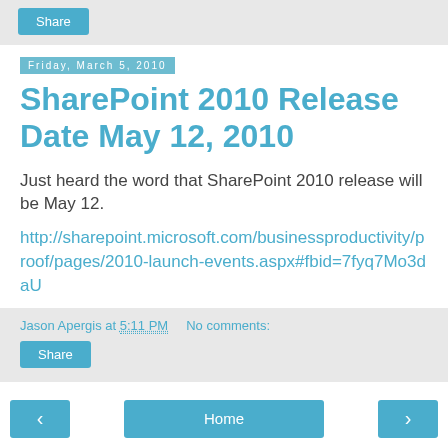Share
Friday, March 5, 2010
SharePoint 2010 Release Date May 12, 2010
Just heard the word that SharePoint 2010 release will be May 12.
http://sharepoint.microsoft.com/businessproductivity/proof/pages/2010-launch-events.aspx#fbid=7fyq7Mo3daU
Jason Apergis at 5:11 PM   No comments:
Share
< Home > View web version